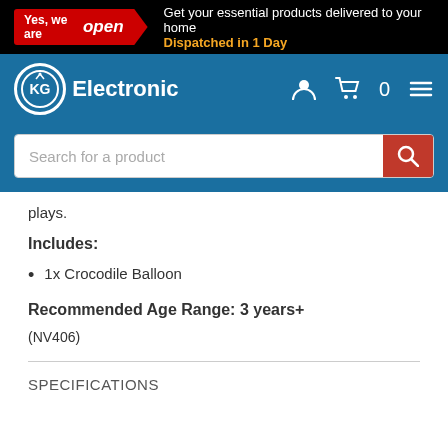[Figure (logo): KG Electronic website header with black banner saying 'Yes, we are open - Get your essential products delivered to your home - Dispatched in 1 Day', blue navigation bar with KG Electronic logo, user/cart/menu icons, and a search bar.]
plays.
Includes:
1x Crocodile Balloon
Recommended Age Range: 3 years+
(NV406)
SPECIFICATIONS